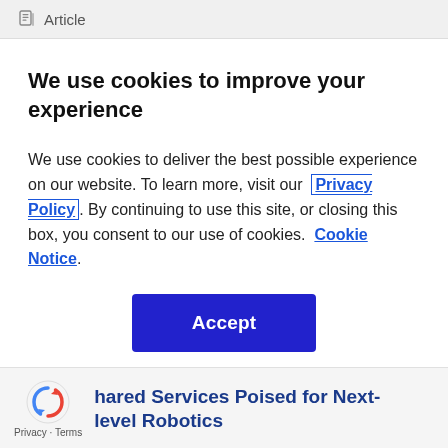Article
We use cookies to improve your experience
We use cookies to deliver the best possible experience on our website. To learn more, visit our Privacy Policy. By continuing to use this site, or closing this box, you consent to our use of cookies. Cookie Notice.
Accept
hared Services Poised for Next-level Robotics